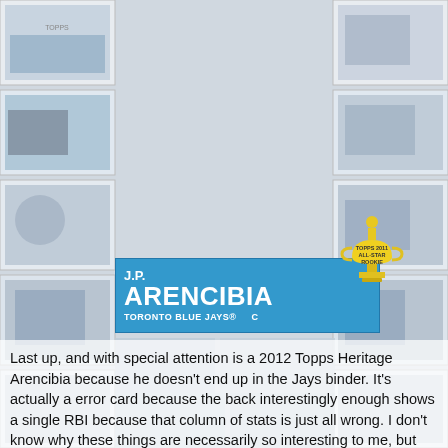[Figure (photo): Baseball trading card for J.P. Arencibia, Toronto Blue Jays catcher, 2012 Topps Heritage style. Shows player in Blue Jays uniform holding a bat, with a blue nameplate banner reading 'J.P. ARENCIBIA / TORONTO BLUE JAYS® C' and a gold trophy badge labeled 'TOPPS 2011 ALL-STAR ROOKIE'. Surrounded by a collage of various sports cards in the background.]
Last up, and with special attention is a 2012 Topps Heritage Arencibia because he doesn't end up in the Jays binder. It's actually a error card because the back interestingly enough shows a single RBI because that column of stats is just all wrong. I don't know why these things are necessarily so interesting to me, but they do, so to the error binder he goes!
ANother great thank you to baseballcardstore.ca - will be